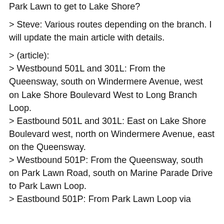Park Lawn to get to Lake Shore?
> Steve: Various routes depending on the branch. I will update the main article with details.
> (article):
> Westbound 501L and 301L: From the Queensway, south on Windermere Avenue, west on Lake Shore Boulevard West to Long Branch Loop.
> Eastbound 501L and 301L: East on Lake Shore Boulevard west, north on Windermere Avenue, east on the Queensway.
> Westbound 501P: From the Queensway, south on Park Lawn Road, south on Marine Parade Drive to Park Lawn Loop.
> Eastbound 501P: From Park Lawn Loop via